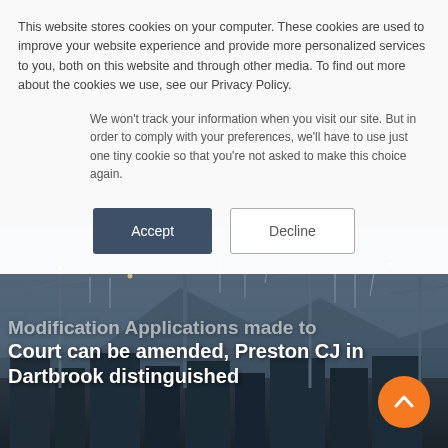This website stores cookies on your computer. These cookies are used to improve your website experience and provide more personalized services to you, both on this website and through other media. To find out more about the cookies we use, see our Privacy Policy.
We won't track your information when you visit our site. But in order to comply with your preferences, we'll have to use just one tiny cookie so that you're not asked to make this choice again.
[Figure (photo): Construction cranes silhouetted against a misty blue-grey sky at dusk]
Modification Applications made to Court can be amended, Preston CJ in Dartbrook distinguished